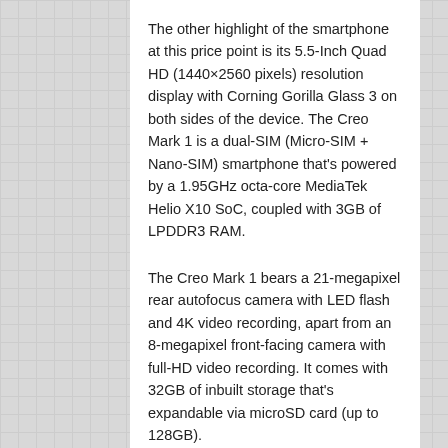The other highlight of the smartphone at this price point is its 5.5-Inch Quad HD (1440×2560 pixels) resolution display with Corning Gorilla Glass 3 on both sides of the device. The Creo Mark 1 is a dual-SIM (Micro-SIM + Nano-SIM) smartphone that's powered by a 1.95GHz octa-core MediaTek Helio X10 SoC, coupled with 3GB of LPDDR3 RAM.
The Creo Mark 1 bears a 21-megapixel rear autofocus camera with LED flash and 4K video recording, apart from an 8-megapixel front-facing camera with full-HD video recording. It comes with 32GB of inbuilt storage that's expandable via microSD card (up to 128GB).
As for connectivity, the Creo Mark 1 offers 4G LTE, Wi-Fi 802.11 b/g/n/ac,